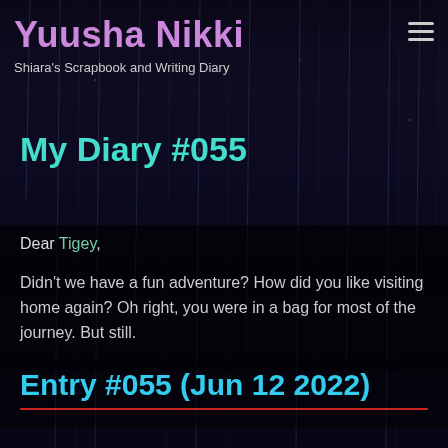Yuusha Nikki
Shiara's Scrapbook and Writing Diary
My Diary #055
Dear Tigey,

Didn't we have a fun adventure? How did you like visiting home again? Oh right, you were in a bag for most of the journey. But still.
Entry #055 (Jun 12 2022)